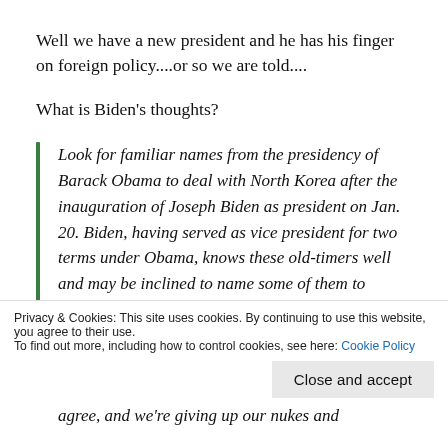Well we have a new president and he has his finger on foreign policy....or so we are told....
What is Biden’s thoughts?
Look for familiar names from the presidency of Barack Obama to deal with North Korea after the inauguration of Joseph Biden as president on Jan. 20. Biden, having served as vice president for two terms under Obama, knows these old-timers well and may be inclined to name some of them to influential positions in
Privacy & Cookies: This site uses cookies. By continuing to use this website, you agree to their use.
To find out more, including how to control cookies, see here: Cookie Policy
Close and accept
agree, and we’re giving up our nukes and